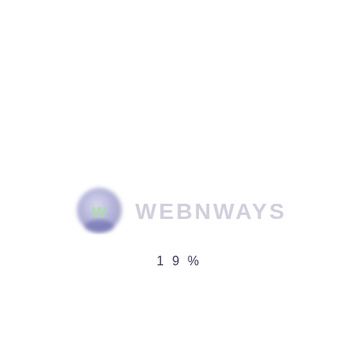[Figure (logo): Webnways logo: a purple/lavender circle with a green 'w' checkmark icon, followed by the text 'WEBNWAYS' in light grey]
19%